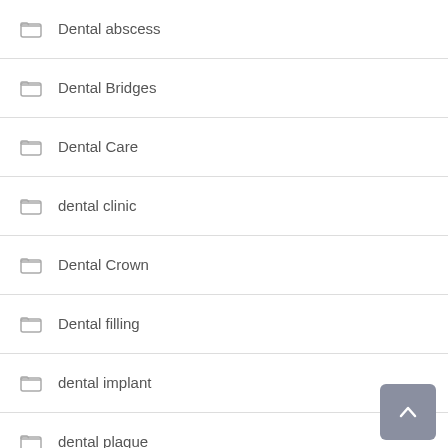Dental abscess
Dental Bridges
Dental Care
dental clinic
Dental Crown
Dental filling
dental implant
dental plaque
Dental Problems
dentist
gum disease
Gum Reshaping